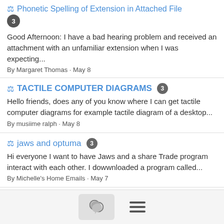Phonetic Spelling of Extension in Attached File
3
Good Afternoon: I have a bad hearing problem and received an attachment with an unfamiliar extension when I was expecting...
By Margaret Thomas · May 8
TACTILE COMPUTER DIAGRAMS 3
Hello friends, does any of you know where I can get tactile computer diagrams for example tactile diagram of a desktop...
By musiime ralph · May 8
jaws and optuma 3
Hi everyone I want to have Jaws and a share Trade program interact with each other. I dowwnloaded a program called...
By Michelle's Home Emails · May 7
Changing Which Version of JAWS Boots Up 3
Hi, All: I'm having a senior moment and hope someone can help refresh my memory. I have JAWS 2019 to 2022 on my...
By...